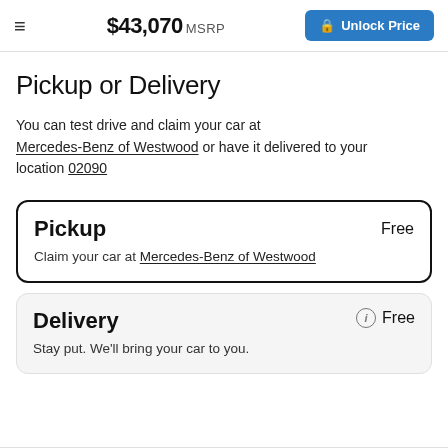$43,070 MSRP | Unlock Price
Pickup or Delivery
You can test drive and claim your car at Mercedes-Benz of Westwood or have it delivered to your location 02090
Pickup — Free
Claim your car at Mercedes-Benz of Westwood
Delivery — Free
Stay put. We'll bring your car to you.